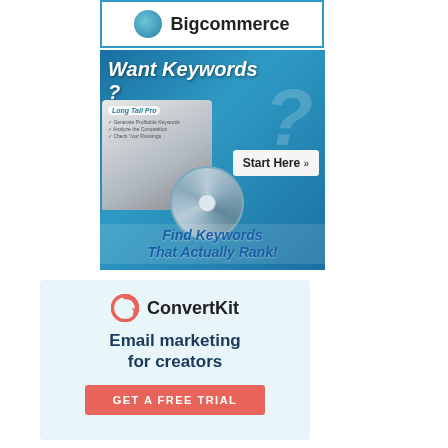[Figure (logo): BigCommerce logo banner with blue circle logo and text]
[Figure (illustration): Long Tail Pro advertisement banner: 'Want Keywords?' with product box, CD, Start Here button, and 'Find Keywords That Actually Rank!' text on blue background]
[Figure (logo): ConvertKit advertisement banner on light blue background with logo, 'Email marketing for creators' tagline, and 'GET A FREE TRIAL' button]